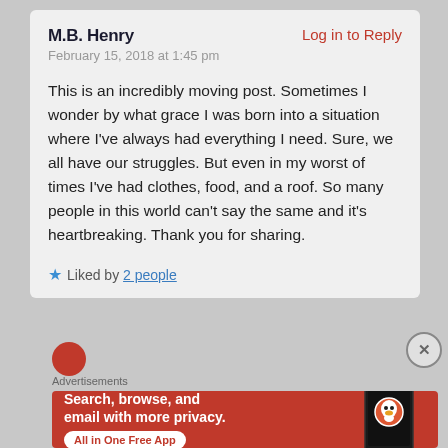M.B. Henry
Log in to Reply
February 15, 2018 at 1:45 pm
This is an incredibly moving post. Sometimes I wonder by what grace I was born into a situation where I've always had everything I need. Sure, we all have our struggles. But even in my worst of times I've had clothes, food, and a roof. So many people in this world can't say the same and it's heartbreaking. Thank you for sharing.
★ Liked by 2 people
[Figure (screenshot): Partial red avatar circle at bottom of comment section]
[Figure (other): X close button circle]
Advertisements
[Figure (infographic): DuckDuckGo advertisement banner with orange-red background. Text: 'Search, browse, and email with more privacy. All in One Free App'. Shows a phone graphic and DuckDuckGo logo.]